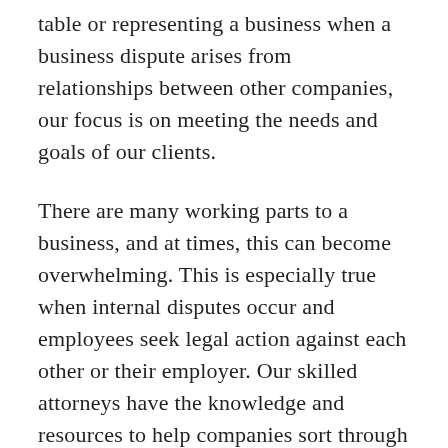table or representing a business when a business dispute arises from relationships between other companies, our focus is on meeting the needs and goals of our clients.
There are many working parts to a business, and at times, this can become overwhelming. This is especially true when internal disputes occur and employees seek legal action against each other or their employer. Our skilled attorneys have the knowledge and resources to help companies sort through these employment law issues, ensuring that they do not impact the normal course of business.